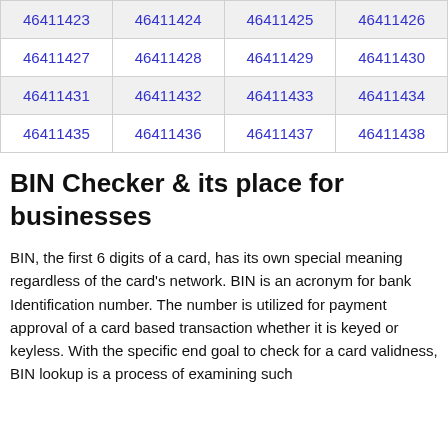| 46411423 | 46411424 | 46411425 | 46411426 |
| 46411427 | 46411428 | 46411429 | 46411430 |
| 46411431 | 46411432 | 46411433 | 46411434 |
| 46411435 | 46411436 | 46411437 | 46411438 |
BIN Checker & its place for businesses
BIN, the first 6 digits of a card, has its own special meaning regardless of the card's network. BIN is an acronym for bank Identification number. The number is utilized for payment approval of a card based transaction whether it is keyed or keyless. With the specific end goal to check for a card validness, BIN lookup is a process of examining such